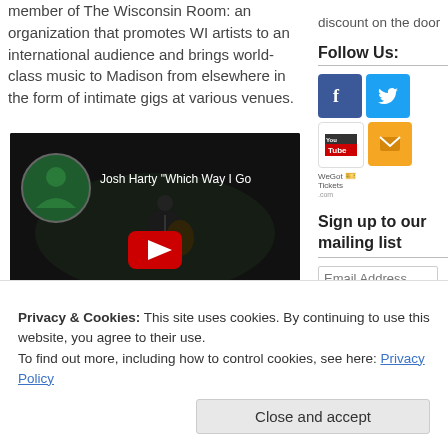member of The Wisconsin Room: an organization that promotes WI artists to an international audience and brings world- class music to Madison from elsewhere in the form of intimate gigs at various venues.
[Figure (screenshot): YouTube video thumbnail showing Josh Harty performing live on stage, with a circular profile image in the top-left corner, the title 'Josh Harty "Which Way I Go' visible, and a large red YouTube play button in the center.]
discount on the door
Follow Us:
[Figure (infographic): Four social media icons: Facebook (blue), Twitter (blue), YouTube (white/red), and an email/envelope icon (gold/yellow), plus a WeGotTickets.com logo beneath.]
Sign up to our mailing list
Email Address
Privacy & Cookies: This site uses cookies. By continuing to use this website, you agree to their use.
To find out more, including how to control cookies, see here: Privacy Policy
Close and accept